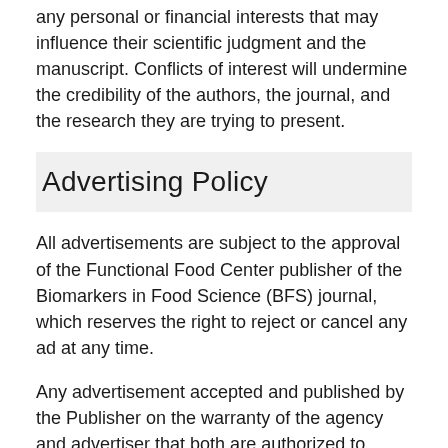any personal or financial interests that may influence their scientific judgment and the manuscript. Conflicts of interest will undermine the credibility of the authors, the journal, and the research they are trying to present.
Advertising Policy
All advertisements are subject to the approval of the Functional Food Center publisher of the Biomarkers in Food Science (BFS) journal, which reserves the right to reject or cancel any ad at any time.
Any advertisement accepted and published by the Publisher on the warranty of the agency and advertiser that both are authorized to publish the entire content and subject matter of the advertisement.
When considering the publishing of an advertisement, the advertiser and agency, jointly agree to indemnify and hold harmless the Publisher, its officers, agents and employees